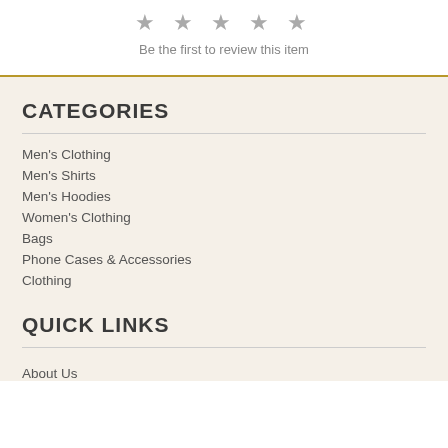[Figure (other): Five empty star icons in a row for rating]
Be the first to review this item
CATEGORIES
Men's Clothing
Men's Shirts
Men's Hoodies
Women's Clothing
Bags
Phone Cases & Accessories
Clothing
QUICK LINKS
About Us